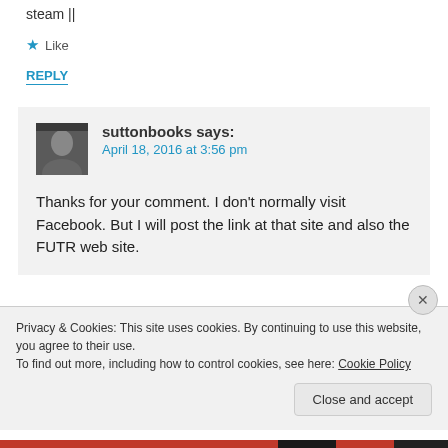steam ||
★ Like
REPLY
suttonbooks says:
April 18, 2016 at 3:56 pm
Thanks for your comment. I don't normally visit Facebook. But I will post the link at that site and also the FUTR web site.
Privacy & Cookies: This site uses cookies. By continuing to use this website, you agree to their use.
To find out more, including how to control cookies, see here: Cookie Policy
Close and accept